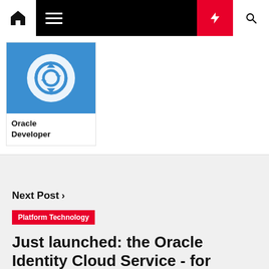[Figure (screenshot): Website navigation bar with home icon, hamburger menu, lightning bolt button in red, and search icon]
[Figure (logo): Oracle Developer logo with blue circular arrows icon on white/blue background, labeled Oracle Developer]
Oracle Developer
Next Post >
Platform Technology
Just launched: the Oracle Identity Cloud Service - for authentication and authorization across the cloud and on...